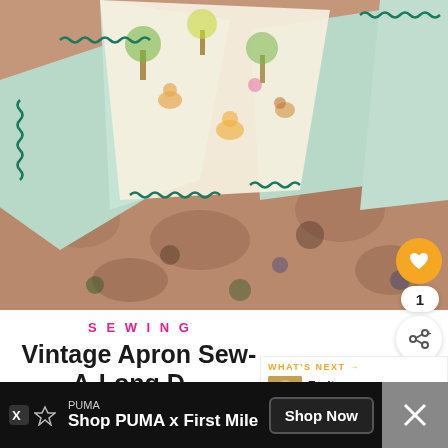[Figure (photo): Close-up photo of fabric pieces with mint green color and printed woodland animal / tree pattern with teal ric-rac trim, laid on a floral patterned rug or carpet background.]
SEWING
Vintage Apron Sew-A-Long D... Finishing
WHAT'S NEXT → Fruity Fashion,...
PUMA Shop PUMA x First Mile Shop Now